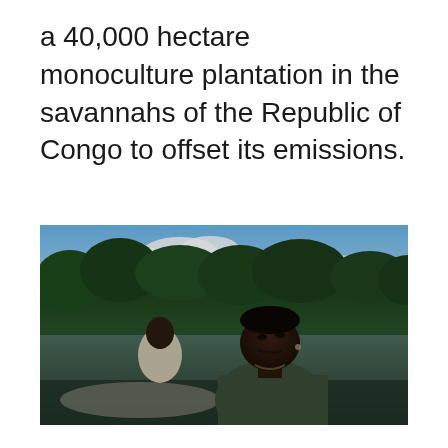a 40,000 hectare monoculture plantation in the savannahs of the Republic of Congo to offset its emissions.
[Figure (photo): Two people on a boat on a river or waterway surrounded by dense green trees and blue sky with clouds. A woman in the foreground wearing a dark green shirt looks upward, and a man in the background wears a light-colored shirt.]